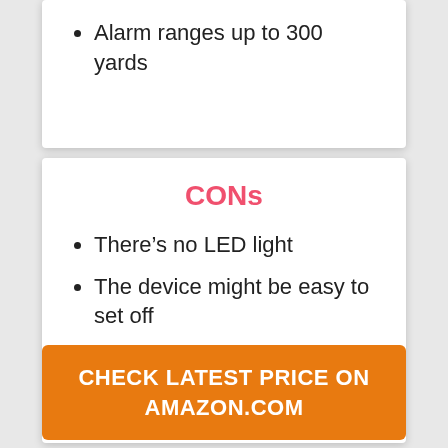Alarm ranges up to 300 yards
CONs
There's no LED light
The device might be easy to set off
May not be loud enough to some people
CHECK LATEST PRICE ON AMAZON.COM